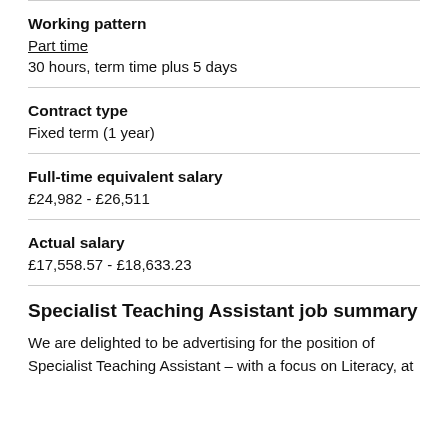Working pattern
Part time
30 hours, term time plus 5 days
Contract type
Fixed term (1 year)
Full-time equivalent salary
£24,982 - £26,511
Actual salary
£17,558.57 - £18,633.23
Specialist Teaching Assistant job summary
We are delighted to be advertising for the position of Specialist Teaching Assistant – with a focus on Literacy, at